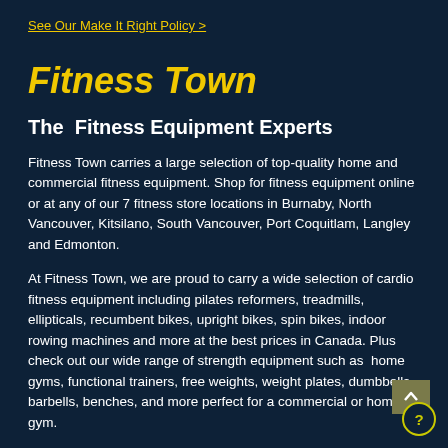See Our Make It Right Policy >
Fitness Town
The  Fitness Equipment Experts
Fitness Town carries a large selection of top-quality home and commercial fitness equipment. Shop for fitness equipment online or at any of our 7 fitness store locations in Burnaby, North Vancouver, Kitsilano, South Vancouver, Port Coquitlam, Langley and Edmonton.
At Fitness Town, we are proud to carry a wide selection of cardio fitness equipment including pilates reformers, treadmills, ellipticals, recumbent bikes, upright bikes, spin bikes, indoor rowing machines and more at the best prices in Canada. Plus check out our wide range of strength equipment such as  home gyms, functional trainers, free weights, weight plates, dumbbells, barbells, benches, and more perfect for a commercial or home gym.